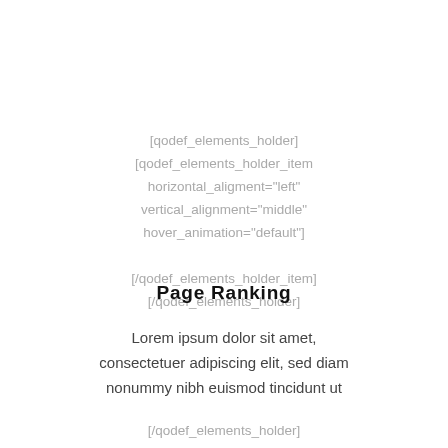[qodef_elements_holder] [qodef_elements_holder_item horizontal_aligment="left" vertical_alignment="middle" hover_animation="default"] [/qodef_elements_holder_item] [/qodef_elements_holder]
Page Ranking
Lorem ipsum dolor sit amet, consectetuer adipiscing elit, sed diam nonummy nibh euismod tincidunt ut
[/qodef_elements_holder]